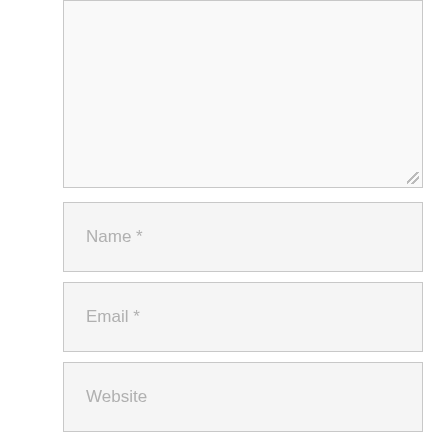[Figure (screenshot): Textarea input box (comment field) with resize handle at bottom right, light gray background]
Name *
Email *
Website
Notify me of follow-up comments by email.
Notify me of new posts by email.
Post Comment